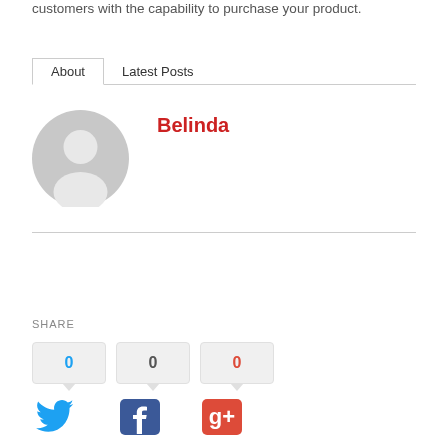customers with the capability to purchase your product.
About  Latest Posts
Belinda
[Figure (illustration): Gray silhouette avatar circle — generic person placeholder]
SHARE
0  0  0
[Figure (illustration): Twitter, Facebook, Google+ social share icons]